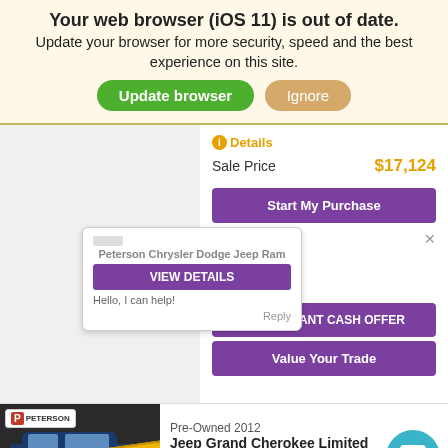Your web browser (iOS 11) is out of date.
Update your browser for more security, speed and the best experience on this site.
Update browser | Ignore
Details
Sale Price $17,124
Start My Purchase
Peterson Chrysler Dodge Jeep Ram VIEW DETAILS Hello, I can help!
KBB INSTANT CASH OFFER
Value Your Trade
[Figure (photo): Car listing photo showing a dark SUV with 'Fresh Trade' yellow banner overlay and Peterson dealership badge]
Pre-Owned 2012
Jeep Grand Cherokee Limited
Stock: 822481A
Mileage: 111,758